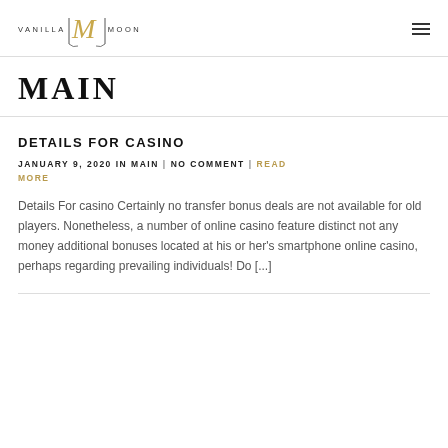VANILLA MOON
MAIN
DETAILS FOR CASINO
JANUARY 9, 2020 IN MAIN | NO COMMENT | READ MORE
Details For casino Certainly no transfer bonus deals are not available for old players. Nonetheless, a number of online casino feature distinct not any money additional bonuses located at his or her's smartphone online casino, perhaps regarding prevailing individuals! Do [...]